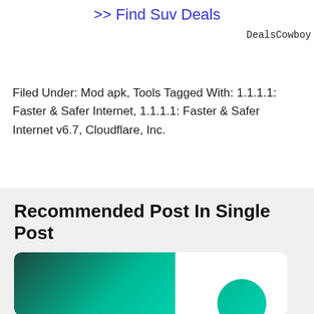>> Find Suv Deals
DealsCowboy
Filed Under: Mod apk, Tools Tagged With: 1.1.1.1: Faster & Safer Internet, 1.1.1.1: Faster & Safer Internet v6.7, Cloudflare, Inc.
Recommended Post In Single Post
[Figure (illustration): Card with dark teal to green gradient on the left and white on the right with a small teal circle in the lower right]